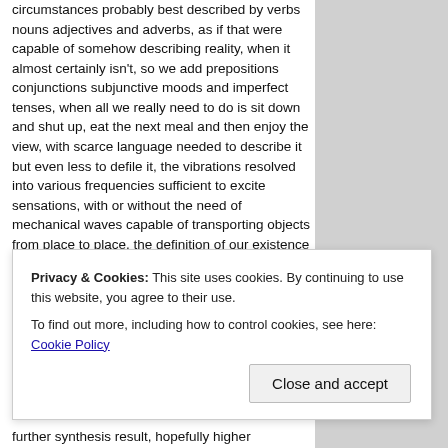circumstances probably best described by verbs nouns adjectives and adverbs, as if that were capable of somehow describing reality, when it almost certainly isn't, so we add prepositions conjunctions subjunctive moods and imperfect tenses, when all we really need to do is sit down and shut up, eat the next meal and then enjoy the view, with scarce language needed to describe it but even less to defile it, the vibrations resolved into various frequencies sufficient to excite sensations, with or without the need of mechanical waves capable of transporting objects from place to place, the definition of our existence best left to the prime movers and heavy lifters and various mechanisms for the transformation of noble metals, when all that is really necessary for spiritual existence is the light of intelligence given in a flash from above, still we
Privacy & Cookies: This site uses cookies. By continuing to use this website, you agree to their use. To find out more, including how to control cookies, see here: Cookie Policy
Close and accept
further synthesis result, hopefully higher